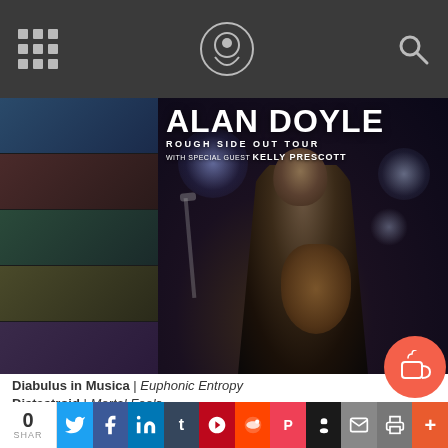Navigation bar with grid menu, site logo, and search icon
[Figure (photo): Concert promotional image for Alan Doyle Rough Side Out Tour with special guest Kelly Prescott. A musician with long brown hair smiles while playing an acoustic guitar on a dark stage with blue/purple stage lighting.]
Diabulus in Musica | Euphonic Entropy
Distastroid | Mortal Fools
0 SHAR | Twitter | Facebook | LinkedIn | Tumblr | Pinterest | Reddit | Pocket | Skull | Email | Print | Plus